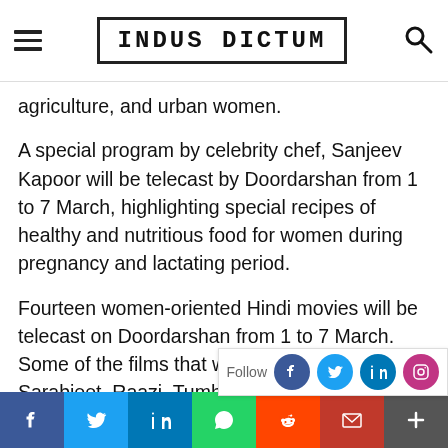INDUS DICTUM
agriculture, and urban women.
A special program by celebrity chef, Sanjeev Kapoor will be telecast by Doordarshan from 1 to 7 March, highlighting special recipes of healthy and nutritious food for women during pregnancy and lactating period.
Fourteen women-oriented Hindi movies will be telecast on Doordarshan from 1 to 7 March. Some of the films that will be telecast are Sarabjeet, Raazi, Tumhari Sulu and Parineeta.
Doordarshan is also organising special programs to commemorate the cont… members of the Indian Co…
Social share bar: Facebook, Twitter, LinkedIn, WhatsApp, Reddit, Email, More